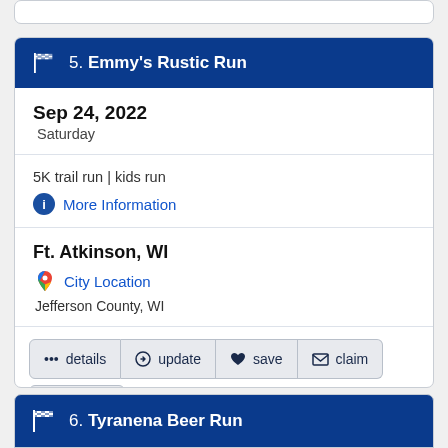5. Emmy's Rustic Run
Sep 24, 2022
Saturday
5K trail run | kids run
More Information
Ft. Atkinson, WI
City Location
Jefferson County, WI
details  update  save  claim  feature
6. Tyranena Beer Run